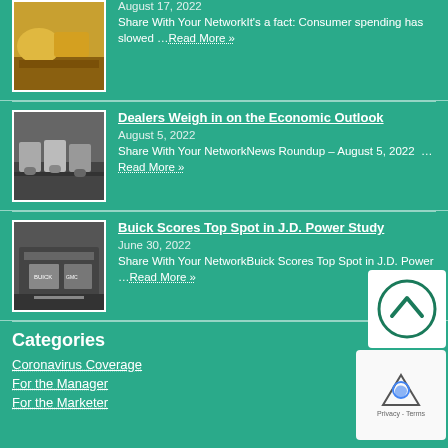[Figure (photo): Yellow construction vehicle or field machinery on gravel/dirt]
August 17, 2022
Share With Your NetworkIt's a fact: Consumer spending has slowed … Read More »
[Figure (photo): Row of white cars in a showroom or parking lot]
Dealers Weigh in on the Economic Outlook
August 5, 2022
Share With Your NetworkNews Roundup – August 5, 2022  …Read More »
[Figure (photo): Buick GMC dealership building exterior]
Buick Scores Top Spot in J.D. Power Study
June 30, 2022
Share With Your NetworkBuick Scores Top Spot in J.D. Power … Read More »
Categories
Coronavirus Coverage
For the Manager
For the Marketer